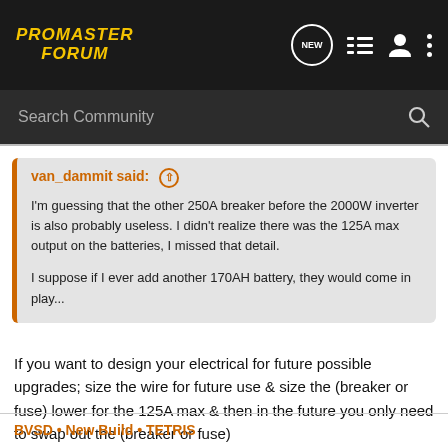PROMASTER FORUM
Search Community
van_dammit said: ↑
I'm guessing that the other 250A breaker before the 2000W inverter is also probably useless. I didn't realize there was the 125A max output on the batteries, I missed that detail.

I suppose if I ever add another 170AH battery, they would come in play...
If you want to design your electrical for future possible upgrades; size the wire for future use & size the (breaker or fuse) lower for the 125A max & then in the future you only need to swap out the (breaker or fuse)
BVSD • New Build • TETRIS